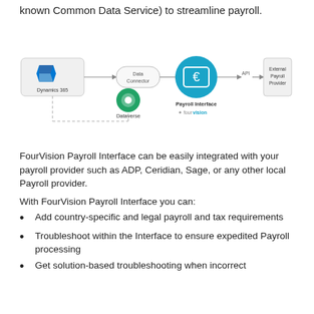known Common Data Service) to streamline payroll.
[Figure (flowchart): Flowchart showing Dynamics 365 connected via Data Connector to Payroll Interface (FourVision) via a euro-symbol icon, then via API to External Payroll Provider. Dynamics 365 also connects via dashed line to Dataverse.]
FourVision Payroll Interface can be easily integrated with your payroll provider such as ADP, Ceridian, Sage, or any other local Payroll provider.
With FourVision Payroll Interface you can:
Add country-specific and legal payroll and tax requirements
Troubleshoot within the Interface to ensure expedited Payroll processing
Get solution-based troubleshooting when incorrect